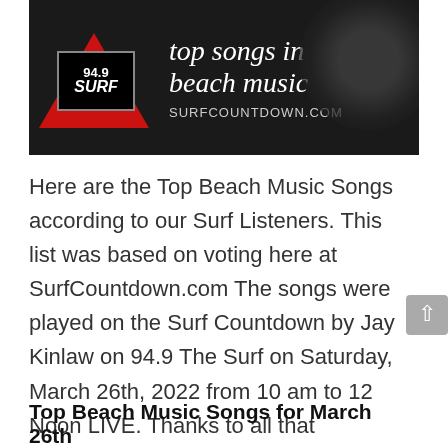[Figure (logo): 94.9 The Surf radio station banner ad showing logo on dark background with vinyl record, text 'top songs in beach music' and 'SURFCOUNTDOWN.COM']
Here are the Top Beach Music Songs according to our Surf Listeners. This list was based on voting here at SurfCountdown.com The songs were played on the Surf Countdown by Jay Kinlaw on 94.9 The Surf on Saturday, March 26th, 2022 from 10 am to 12 Noon LIVE. Thanks to all that participated in the voting and thanks for listening to 94.9 in the Grand Strand and all over the world on 949thesurf.com.
Top Beach Music Songs for March 26th